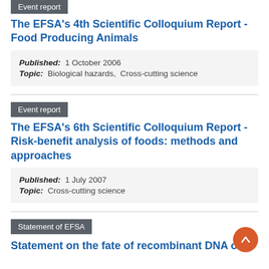Event report
The EFSA's 4th Scientific Colloquium Report - Food Producing Animals
Published: 1 October 2006
Topic: Biological hazards, Cross-cutting science
Event report
The EFSA's 6th Scientific Colloquium Report - Risk-benefit analysis of foods: methods and approaches
Published: 1 July 2007
Topic: Cross-cutting science
Statement of EFSA
Statement on the fate of recombinant DNA or